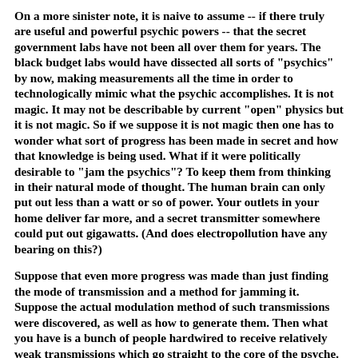On a more sinister note, it is naive to assume -- if there truly are useful and powerful psychic powers -- that the secret government labs have not been all over them for years.  The black budget labs would have dissected all sorts of "psychics" by now, making measurements all the time in order to technologically mimic what the psychic accomplishes.  It is not magic.  It may not be describable by current "open" physics but it is not magic.  So if we suppose it is not magic then one has to wonder what sort of progress has been made in secret and how that knowledge is being used.  What if it were politically desirable to "jam the psychics"?  To keep them from thinking in their natural mode of thought.  The human brain can only put out less than a watt or so of power.  Your outlets in your home deliver far more, and a secret transmitter somewhere could put out gigawatts.  (And does electropollution have any bearing on this?)
Suppose that even more progress was made than just finding the mode of transmission and a method for jamming it.  Suppose the actual modulation method of such transmissions were discovered, as well as how to generate them.  Then what you have is a bunch of people hardwired to receive relatively weak transmissions which go straight to the core of the psyche.  What better mind control method?  It was already there in the first place, it just had to be hijacked by Nazis and employed...